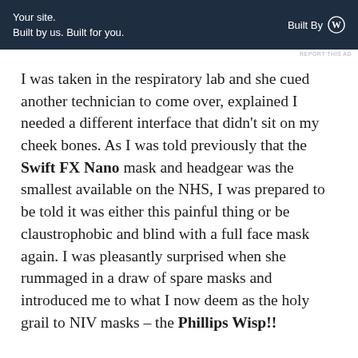[Figure (other): WordPress advertisement banner: 'Your site. Built by us. Built for you.' with 'Built By' WordPress logo on dark navy background]
REPORT THIS AD
I was taken in the respiratory lab and she cued another technician to come over, explained I needed a different interface that didn't sit on my cheek bones. As I was told previously that the Swift FX Nano mask and headgear was the smallest available on the NHS, I was prepared to be told it was either this painful thing or be claustrophobic and blind with a full face mask again. I was pleasantly surprised when she rummaged in a draw of spare masks and introduced me to what I now deem as the holy grail to NIV masks – the Phillips Wisp!!